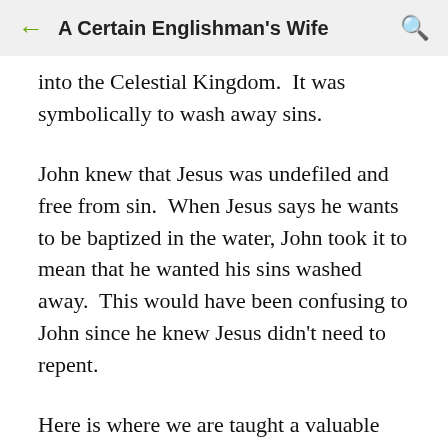A Certain Englishman's Wife
into the Celestial Kingdom.  It was symbolically to wash away sins.
John knew that Jesus was undefiled and free from sin.  When Jesus says he wants to be baptized in the water, John took it to mean that he wanted his sins washed away.  This would have been confusing to John since he knew Jesus didn't need to repent.
Here is where we are taught a valuable lesson about baptism.  It isn't just about having our sins